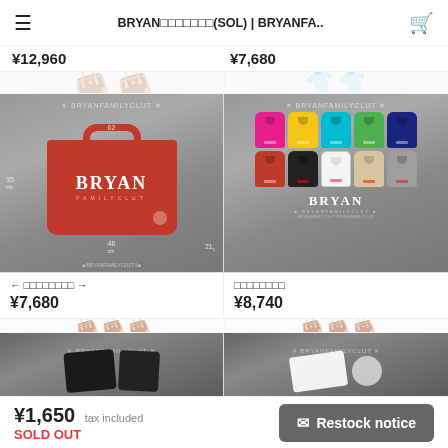BRYAN（SOL） | BRYANFA..
¥12,960
¥7,680
[Figure (photo): Red BRYAN branded tote bag on grey background with dimension measurements shown]
[Figure (photo): Grid of BRYAN hooded sweatshirts in multiple colors: pink, yellow, blue, green, navy (top row), red, black, white, beige, grey (bottom row)]
← □□□□□□□□ →
□□□□□□□□
¥7,680
¥8,740
[Figure (photo): Partial view of dark product image at bottom left]
[Figure (photo): Partial view of dark product image at bottom right]
¥1,650 tax included
SOLD OUT
✉ Restock notice